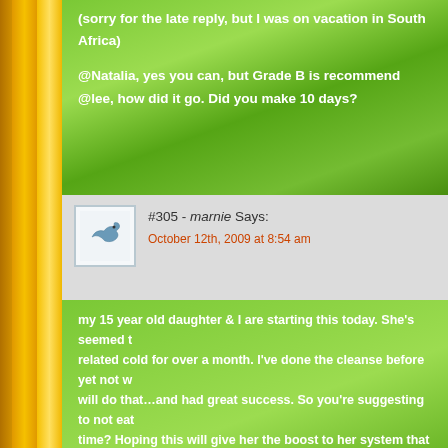(sorry for the late reply, but I was on vacation in South Africa)
@Natalia, yes you can, but Grade B is recommend
@lee, how did it go. Did you make 10 days?
#305 - marnie Says:
October 12th, 2009 at 8:54 am
my 15 year old daughter & I are starting this today. She's seemed to have a stress related cold for over a month. I've done the cleanse before yet not with my daughter, will do that…and had great success. So you're suggesting to not eat anything at this time? Hoping this will give her the boost to her system that it needs. The timing never seems to be right for something like this as we are going to a big weekend for Home Coming. Wish us well!
#306 - Erica Says:
October 12th, 2009 at 10:33 am
Hi everyone!